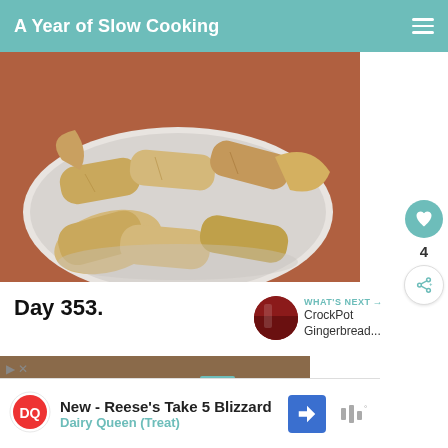A Year of Slow Cooking
[Figure (photo): A white plate with several tamales wrapped in corn husks, placed on a brown table surface.]
Day 353.
WHAT'S NEXT → CrockPot Gingerbread...
[Figure (photo): Partial view of a second food photo, partially visible at bottom of page.]
New - Reese's Take 5 Blizzard Dairy Queen (Treat)